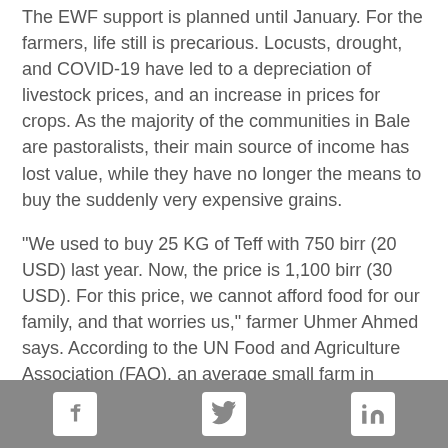The EWF support is planned until January. For the farmers, life still is precarious. Locusts, drought, and COVID-19 have led to a depreciation of livestock prices, and an increase in prices for crops. As the majority of the communities in Bale are pastoralists, their main source of income has lost value, while they have no longer the means to buy the suddenly very expensive grains.
"We used to buy 25 KG of Teff with 750 birr (20 USD) last year. Now, the price is 1,100 birr (30 USD). For this price, we cannot afford food for our family, and that worries us," farmer Uhmer Ahmed says. According to the UN Food and Agriculture Association (FAO), an average small farm in Ethiopia has an annual income of about 1,246 USD.
The threat of the locusts is also far from over, as the next swarm is already breeding. FAO in an update from the end
Social media icons: Facebook, Twitter, LinkedIn